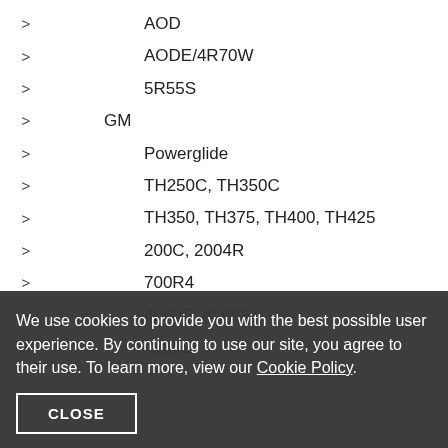AOD
AODE/4R70W
5R55S
GM
Powerglide
TH250C, TH350C
TH350, TH375, TH400, TH425
200C, 2004R
700R4
4L60E, 4L65E
4L80E
Chrysler
We use cookies to provide you with the best possible user experience. By continuing to use our site, you agree to their use. To learn more, view our Cookie Policy.